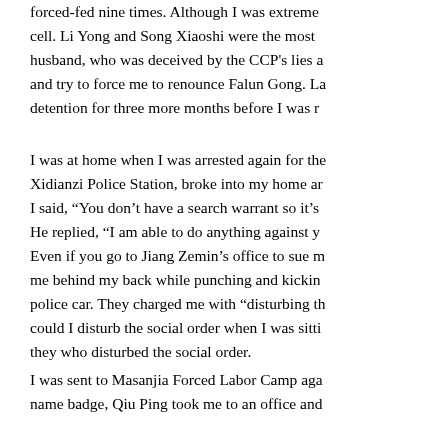forced-fed nine times. Although I was extreme cell. Li Yong and Song Xiaoshi were the most husband, who was deceived by the CCP's lies a and try to force me to renounce Falun Gong. L detention for three more months before I was r
I was at home when I was arrested again for th Xidianzi Police Station, broke into my home ar I said, "You don't have a search warrant so it's He replied, "I am able to do anything against y Even if you go to Jiang Zemin's office to sue m me behind my back while punching and kickin police car. They charged me with "disturbing th could I disturb the social order when I was sitti they who disturbed the social order.
I was sent to Masanjia Forced Labor Camp aga name badge, Qiu Ping took me to an office and